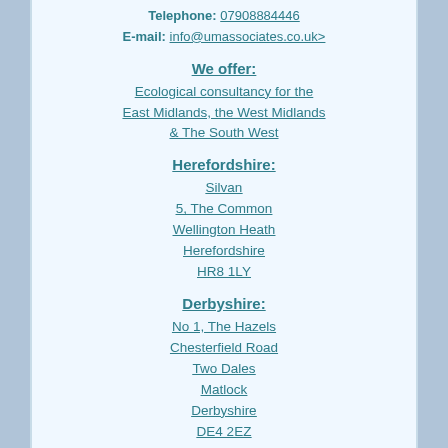Telephone: 07908884446
E-mail: info@umassociates.co.uk>
We offer:
Ecological consultancy for the East Midlands, the West Midlands & The South West
Herefordshire:
Silvan
5, The Common
Wellington Heath
Herefordshire
HR8 1LY
Derbyshire:
No 1, The Hazels
Chesterfield Road
Two Dales
Matlock
Derbyshire
DE4 2EZ